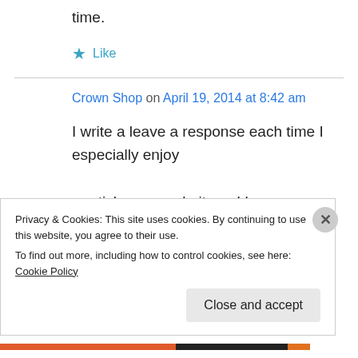time.
★ Like
Crown Shop on April 19, 2014 at 8:42 am
I write a leave a response each time I especially enjoy a article on a website or I have something to add to the conversation. Usually it's triggered by the
Privacy & Cookies: This site uses cookies. By continuing to use this website, you agree to their use.
To find out more, including how to control cookies, see here: Cookie Policy
Close and accept